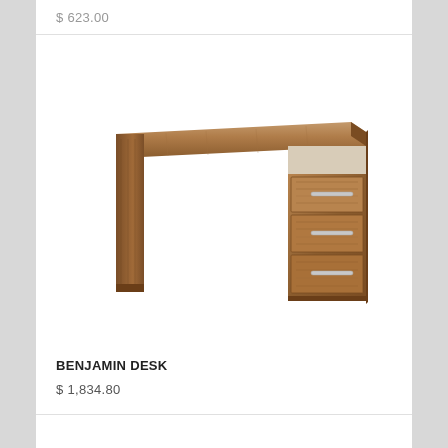$ 623.00
[Figure (photo): A wooden desk (Benjamin Desk) with a wide flat top surface and a pedestal unit on the right side featuring three drawers with silver bar handles. The desk has a walnut wood grain finish and a minimalist modern design.]
BENJAMIN DESK
$ 1,834.80